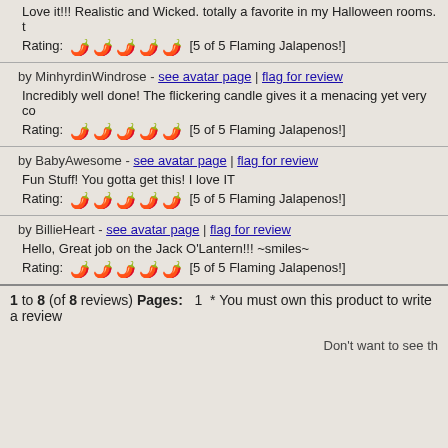Love it!!! Realistic and Wicked. totally a favorite in my Halloween rooms.
Rating: [5 of 5 Flaming Jalapenos!]
by MinhyrdinWindrose - see avatar page | flag for review
Incredibly well done! The flickering candle gives it a menacing yet very co
Rating: [5 of 5 Flaming Jalapenos!]
by BabyAwesome - see avatar page | flag for review
Fun Stuff! You gotta get this! I love IT
Rating: [5 of 5 Flaming Jalapenos!]
by BillieHeart - see avatar page | flag for review
Hello, Great job on the Jack O'Lantern!!! ~smiles~
Rating: [5 of 5 Flaming Jalapenos!]
1 to 8 (of 8 reviews) Pages: 1 * You must own this product to write a review
Don't want to see th